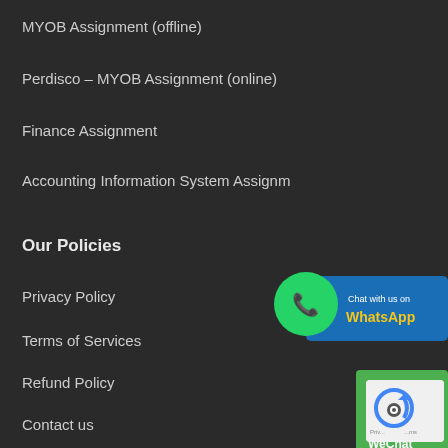MYOB Assignment (offline)
Perdisco – MYOB Assignment (online)
Finance Assignment
Accounting Information System Assignment
Our Policies
Privacy Policy
Terms of Services
Refund Policy
Contact us
info@myassignmentguru.com
+1 (450) 800-2020 (WhatsApp)
[Figure (logo): WhatsApp Chat button with green phone bubble icon and blue banner saying 'Chat with us on WhatsApp']
[Figure (logo): WeChat green icon/logo button]
[Figure (logo): reCAPTCHA privacy badge]